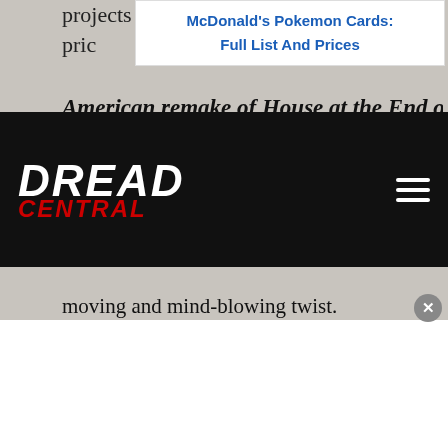projects at the same time. For now, my pric
American remake of House at the End of
[Figure (screenshot): Advertisement banner: McDonald's Pokemon Cards: Full List And Prices]
[Figure (logo): Dread Central logo - white text DREAD with red CENTRAL below on black navigation bar]
moving and mind-blowing twist.
I am also attached to an adventure-horror project called God Pool that may be filmed this year in some amazing caves in Ecuador. I am also considering the possibility of creating a sequel and prequel to The Exorcism of God, as well as a science fiction project that I have
[Figure (screenshot): White advertisement area at bottom of page with close button (x)]